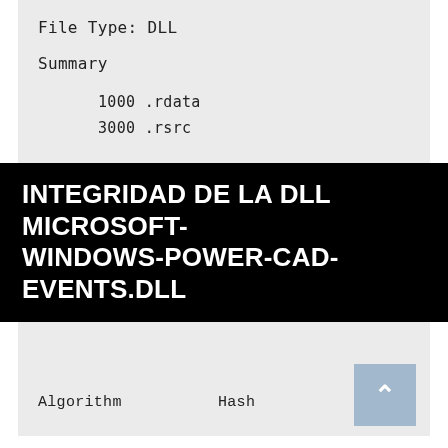File Type: DLL
Summary
1000 .rdata
3000 .rsrc
INTEGRIDAD DE LA DLL MICROSOFT-WINDOWS-POWER-CAD-EVENTS.DLL
| Algorithm | Hash |
| --- | --- |